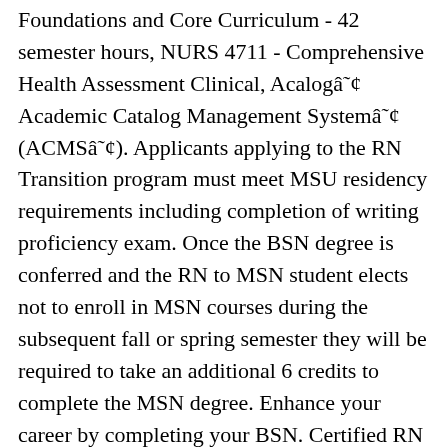Foundations and Core Curriculum - 42 semester hours, NURS 4711 - Comprehensive Health Assessment Clinical, Acalogâ¢ Academic Catalog Management Systemâ¢ (ACMSâ¢). Applicants applying to the RN Transition program must meet MSU residency requirements including completion of writing proficiency exam. Once the BSN degree is conferred and the RN to MSN student elects not to enroll in MSN courses during the subsequent fall or spring semester they will be required to take an additional 6 credits to complete the MSN degree. Enhance your career by completing your BSN. Certified RN with Associate's Degree (ADN) from a community college. The BSN training program is fully certified by the Commission on Collegiate Nursing Education along with the Board of Nurse Examiners for the State of Texas. No additional